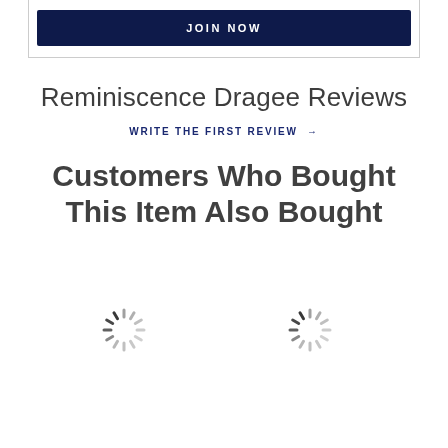[Figure (screenshot): JOIN NOW button — dark navy rectangle with white bold uppercase text]
Reminiscence Dragee Reviews
WRITE THE FIRST REVIEW →
Customers Who Bought This Item Also Bought
[Figure (other): Two loading spinner icons side by side]
[Figure (other): Loading spinner icon (right)]